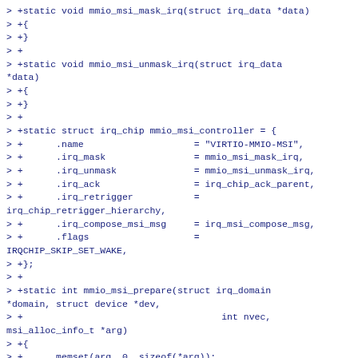> +static void mmio_msi_mask_irq(struct irq_data *data)
> +{
> +}
> +
> +static void mmio_msi_unmask_irq(struct irq_data *data)
> +{
> +}
> +
> +static struct irq_chip mmio_msi_controller = {
> +      .name                    = "VIRTIO-MMIO-MSI",
> +      .irq_mask                = mmio_msi_mask_irq,
> +      .irq_unmask              = mmio_msi_unmask_irq,
> +      .irq_ack                 = irq_chip_ack_parent,
> +      .irq_retrigger           = irq_chip_retrigger_hierarchy,
> +      .irq_compose_msi_msg     = irq_msi_compose_msg,
> +      .flags                   = IRQCHIP_SKIP_SET_WAKE,
> +};
> +
> +static int mmio_msi_prepare(struct irq_domain *domain, struct device *dev,
> +                                    int nvec, msi_alloc_info_t *arg)
> +{
> +      memset(arg, 0, sizeof(*arg));
> +      return 0;
> +}
> +